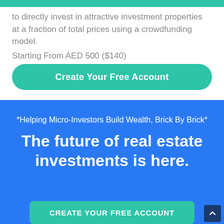to directly invest in attractive investment properties at a fraction of total prices using a crowdfunding model.
Starting From AED 500 ($140)
Create Your Free Account
*Helping Micro-Investors Build Wealth, Brick By Brick*
The future of real estate investments is here.
CREATE YOUR FREE ACCOUNT